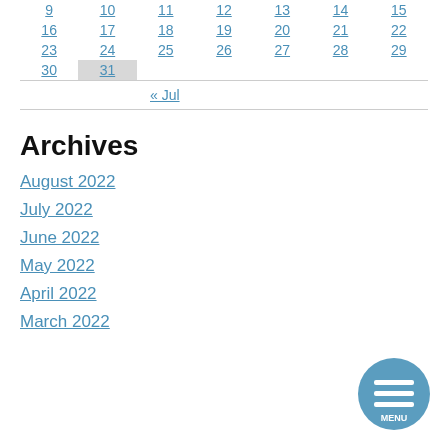| 9 | 10 | 11 | 12 | 13 | 14 | 15 |
| 16 | 17 | 18 | 19 | 20 | 21 | 22 |
| 23 | 24 | 25 | 26 | 27 | 28 | 29 |
| 30 | 31 |  |  |  |  |  |
« Jul
Archives
August 2022
July 2022
June 2022
May 2022
April 2022
March 2022